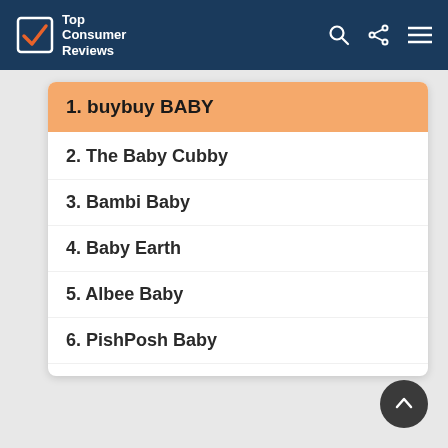Top Consumer Reviews
1. buybuy BABY
2. The Baby Cubby
3. Bambi Baby
4. Baby Earth
5. Albee Baby
6. PishPosh Baby
7. The Natural Baby Company
8. aBaby